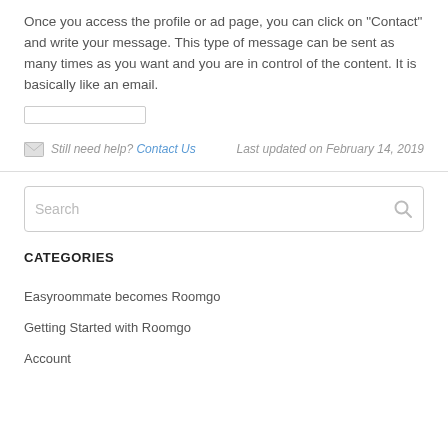Once you access the profile or ad page, you can click on "Contact" and write your message. This type of message can be sent as many times as you want and you are in control of the content. It is basically like an email.
[Figure (other): A small horizontal input field/text box placeholder element]
Still need help? Contact Us    Last updated on February 14, 2019
Search
CATEGORIES
Easyroommate becomes Roomgo
Getting Started with Roomgo
Account